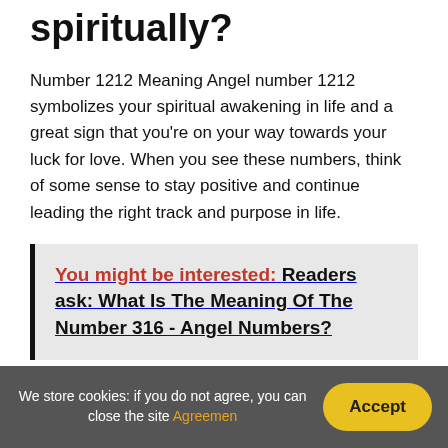spiritually?
Number 1212 Meaning Angel number 1212 symbolizes your spiritual awakening in life and a great sign that you're on your way towards your luck for love. When you see these numbers, think of some sense to stay positive and continue leading the right track and purpose in life.
You might be interested: Readers ask: What Is The Meaning Of The Number 316 - Angel Numbers?
What does 777 mean in Chinese?
We store cookies: if you do not agree, you can close the site Agreemen  Accept